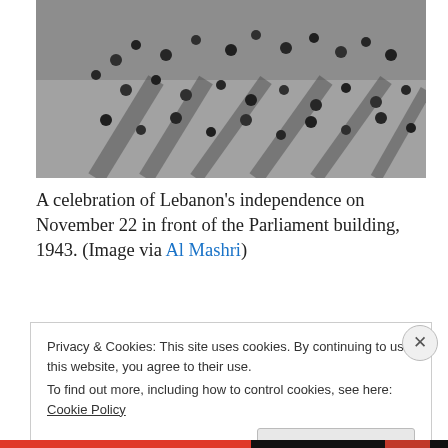[Figure (photo): Black and white aerial photograph of a crowd of people gathered in front of the Parliament building in Lebanon, 1943, celebrating independence on November 22.]
A celebration of Lebanon's independence on November 22 in front of the Parliament building, 1943. (Image via Al Mashri)
Privacy & Cookies: This site uses cookies. By continuing to use this website, you agree to their use.
To find out more, including how to control cookies, see here: Cookie Policy